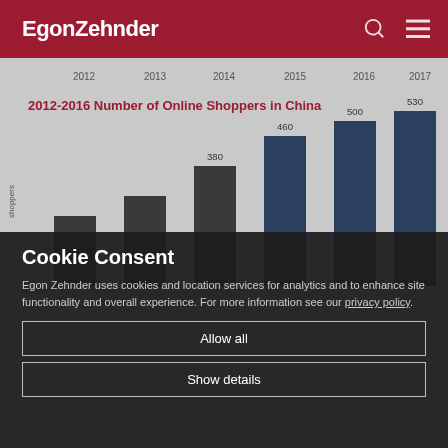EgonZehnder
[Figure (bar-chart): 2012-2016 Number of Online Shoppers in China]
Cookie Consent
Egon Zehnder uses cookies and location services for analytics and to enhance site functionality and overall experience. For more information see our privacy policy.
Allow all
Show details